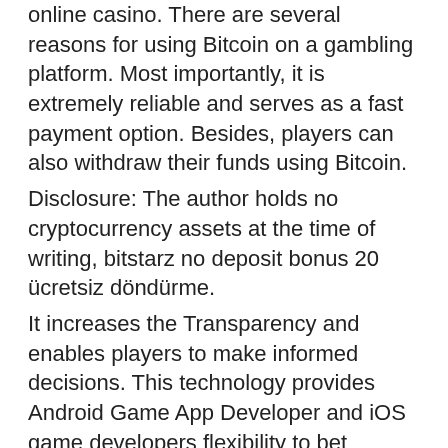online casino. There are several reasons for using Bitcoin on a gambling platform. Most importantly, it is extremely reliable and serves as a fast payment option. Besides, players can also withdraw their funds using Bitcoin.
Disclosure: The author holds no cryptocurrency assets at the time of writing, bitstarz no deposit bonus 20 ücretsiz döndürme.
It increases the Transparency and enables players to make informed decisions. This technology provides Android Game App Developer and iOS game developers flexibility to bet anytime and from anywhere. Blockchain technology enables the transfer of digital currency in the most advanced and secure manner, bitstarz no deposit bonus 20 ücretsiz döndürme.
Bitstarz no deposit giri gratuiti